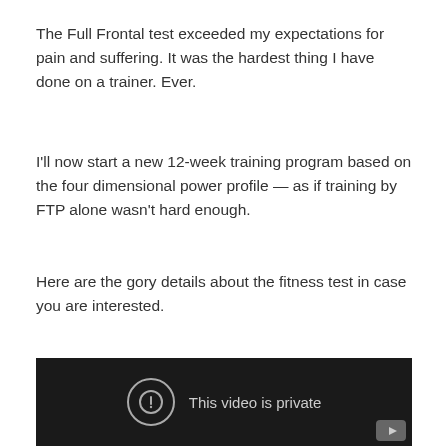The Full Frontal test exceeded my expectations for pain and suffering. It was the hardest thing I have done on a trainer. Ever.
I'll now start a new 12-week training program based on the four dimensional power profile — as if training by FTP alone wasn't hard enough.
Here are the gory details about the fitness test in case you are interested.
[Figure (screenshot): Embedded video player showing a dark/black background with a circular exclamation icon and the text 'This video is private', with a YouTube button in the bottom right corner.]